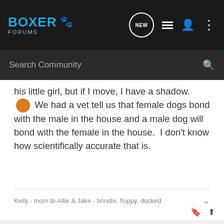[Figure (screenshot): Boxer Forums navigation bar with logo, NEW bubble icon, list icon, user icon, and dots menu icon on dark background]
[Figure (screenshot): Search Community search bar on dark background]
his little girl, but if I move, I have a shadow. 🙂 We had a vet tell us that female dogs bond with the male in the house and a male dog will bond with the female in the house. I don't know how scientifically accurate that is.
Kelly - mom to Allie & Jake - brindle, floppy, docked
Skylar · Registered
Joined Nov 14, 2007 · 1,313 Posts